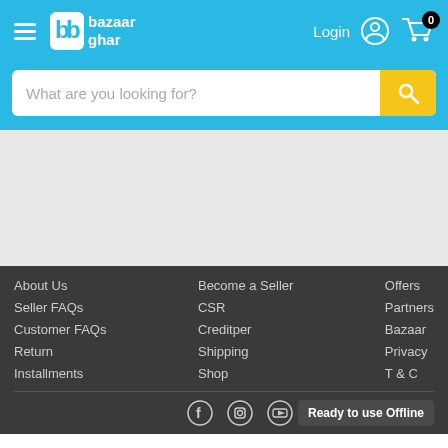[Figure (screenshot): BazaarGhar e-commerce website screenshot showing navigation header with logo, login and cart, search bar, empty content area, and footer with links and social icons]
bazaar ghar — Login — Cart: 0
What are you looking for?
About Us
Seller FAQs
Customer FAQs
Return
Installments
Become a Seller
CSR
Creditper
Shipping
Shop
Offers
Partners
Bazaar
Privacy
T & C
Ready to use Offline